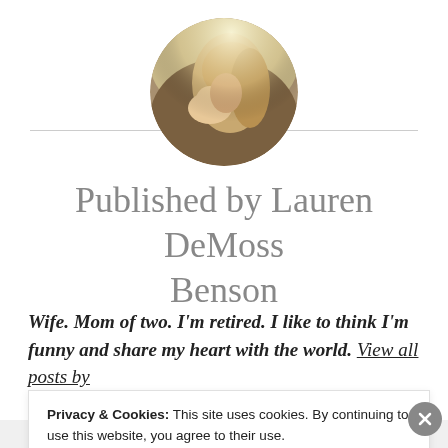[Figure (photo): Circular avatar photo of a woman holding a baby, warm outdoor lighting]
Published by Lauren DeMoss Benson
Wife. Mom of two. I'm retired. I like to think I'm funny and share my heart with the world. View all posts by L…
Privacy & Cookies: This site uses cookies. By continuing to use this website, you agree to their use.
To find out more, including how to control cookies, see here:
Cookie Policy
Close and accept